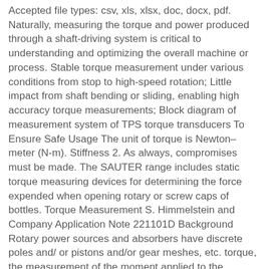Accepted file types: csv, xls, xlsx, doc, docx, pdf. Naturally, measuring the torque and power produced through a shaft-driving system is critical to understanding and optimizing the overall machine or process. Stable torque measurement under various conditions from stop to high-speed rotation; Little impact from shaft bending or sliding, enabling high accuracy torque measurements; Block diagram of measurement system of TPS torque transducers To Ensure Safe Usage The unit of torque is Newton–meter (N-m). Stiffness 2. As always, compromises must be made. The SAUTER range includes static torque measuring devices for determining the force expended when opening rotary or screw caps of bottles. Torque Measurement S. Himmelstein and Company Application Note 221101D Background Rotary power sources and absorbers have discrete poles and/ or pistons and/or gear meshes, etc. torque, the measurement of the moment applied to the dynamometer is correct. Torque Measurement Instruments. 0000008763 00000 n 0000002547 00000 n The main selection criteria are: 1. TORQUE TENSION REFERENCE GUIDE Printed in U.S.A. S...